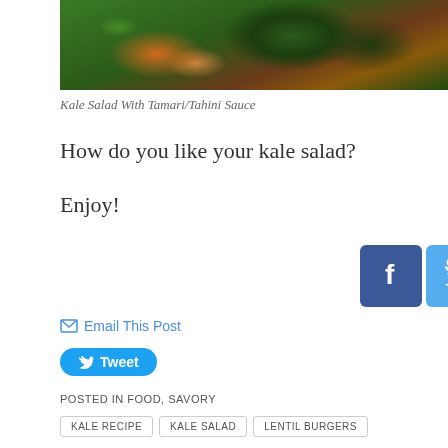[Figure (photo): Photo of kale salad with dark greens and orange/brown vegetables on a plate, partial view at top of page]
Kale Salad With Tamari/Tahini Sauce
How do you like your kale salad?
Enjoy!
[Figure (infographic): Social media share buttons: Facebook, Twitter, Pinterest, Instagram icons]
Email This Post
Tweet
POSTED IN FOOD, SAVORY
KALE RECIPE
KALE SALAD
LENTIL BURGERS